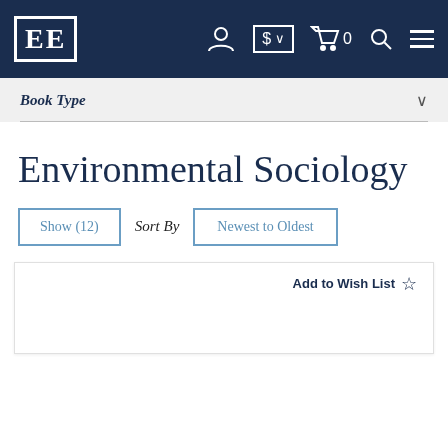EE logo navigation bar with icons: account, currency selector, cart (0), search, menu
Book Type
Environmental Sociology
Show (12)  Sort By  Newest to Oldest
Add to Wish List ☆